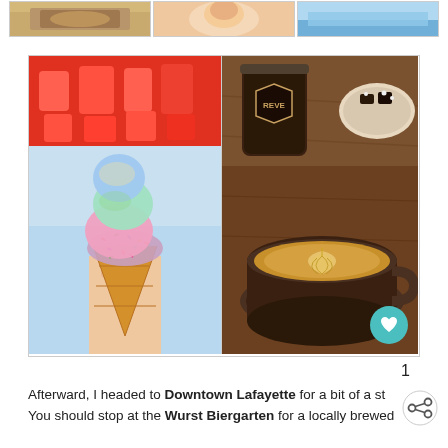[Figure (photo): Top strip with three thumbnail food/activity photos]
[Figure (photo): Left: Hand holding a colorful rainbow sprinkle ice cream cone in front of a red sign. Right: Reve coffee latte art in a dark mug with a jar and small bites on a plate in the background.]
Afterward, I headed to Downtown Lafayette for a bit of a st... You should stop at the Wurst Biergarten for a locally brewed